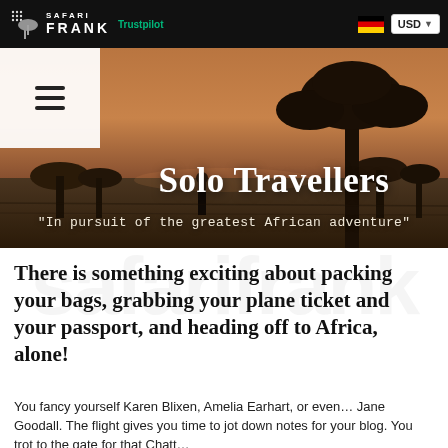Safari Frank | Trustpilot | USD
[Figure (photo): Hero image of African savanna at sunset with tree silhouette and lone person standing. White menu panel with hamburger icon on left side overlaid.]
Solo Travellers
"In pursuit of the greatest African adventure"
There is something exciting about packing your bags, grabbing your plane ticket and your passport, and heading off to Africa, alone!
You fancy yourself Karen Blixen, Amelia Earhart, or even… Jane Goodall. The flight gives you time to jot down notes for your blog. You trot to the gate for that Chatt…